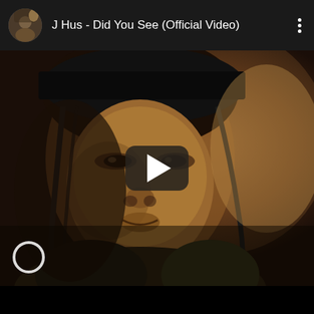[Figure (screenshot): YouTube video card for 'J Hus - Did You See (Official Video)'. Shows a dark top bar with a circular avatar thumbnail, the video title, and a vertical three-dot menu icon. Below is a video thumbnail showing a close-up of a young Black man wearing a dark cap and headphones/earphones, with a play button overlay in the center. A small white circle watermark appears at the bottom left of the video. A black bar runs along the bottom.]